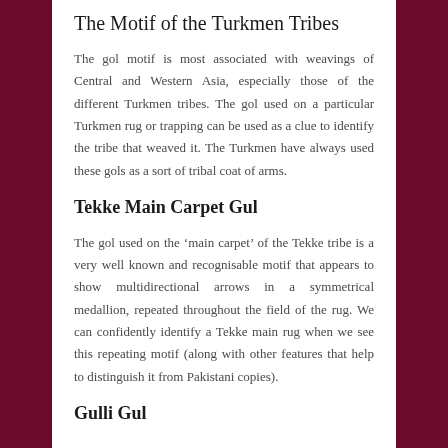The Motif of the Turkmen Tribes
The gol motif is most associated with weavings of Central and Western Asia, especially those of the different Turkmen tribes. The gol used on a particular Turkmen rug or trapping can be used as a clue to identify the tribe that weaved it. The Turkmen have always used these gols as a sort of tribal coat of arms.
Tekke Main Carpet Gul
The gol used on the ‘main carpet’ of the Tekke tribe is a very well known and recognisable motif that appears to show multidirectional arrows in a symmetrical medallion, repeated throughout the field of the rug. We can confidently identify a Tekke main rug when we see this repeating motif (along with other features that help to distinguish it from Pakistani copies).
Gulli Gul